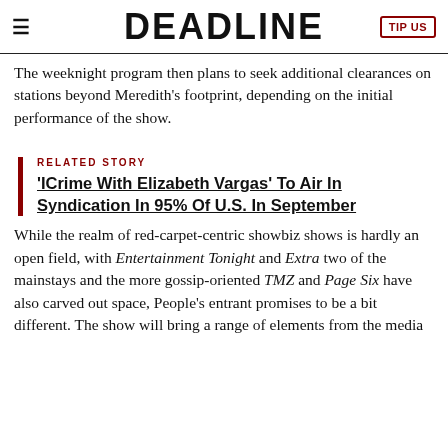≡  DEADLINE  TIP US
The weeknight program then plans to seek additional clearances on stations beyond Meredith's footprint, depending on the initial performance of the show.
RELATED STORY
'ICrime With Elizabeth Vargas' To Air In Syndication In 95% Of U.S. In September
While the realm of red-carpet-centric showbiz shows is hardly an open field, with Entertainment Tonight and Extra two of the mainstays and the more gossip-oriented TMZ and Page Six have also carved out space, People's entrant promises to be a bit different. The show will bring a range of elements from the media brand to...